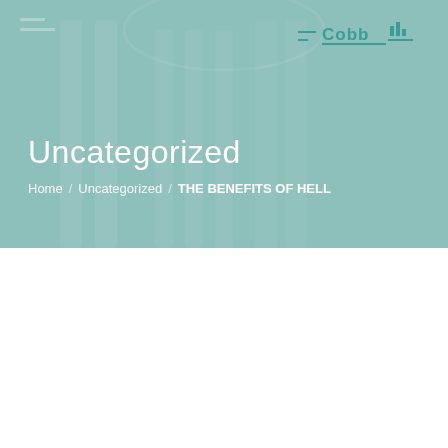[Figure (illustration): Hero banner with teal/mint background showing faint architectural columns. Top right has the Cobb logo with teal text and underline decoration.]
Uncategorized
Home / Uncategorized / THE BENEFITS OF HELL
On December 31, 2021
THE BENEFITS OF HELL
By In Blog, Title || Category: Uncategorized